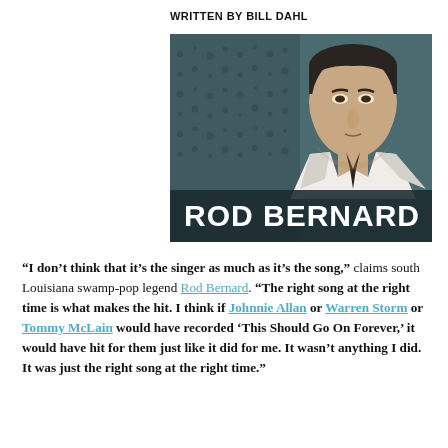WRITTEN BY BILL DAHL
[Figure (photo): Black and white promotional photo of Rod Bernard, a young man in a suit and tie looking upward, with bold white text 'ROD BERNARD' overlaid at the bottom on a dark teal/slate background with halftone pattern on the left side.]
“I don’t think that it’s the singer as much as it’s the song,” claims south Louisiana swamp-pop legend Rod Bernard. “The right song at the right time is what makes the hit. I think if Johnnie Allan or Warren Storm or Tommy McLain would have recorded ‘This Should Go On Forever,’ it would have hit for them just like it did for me. It wasn’t anything I did. It was just the right song at the right time.”